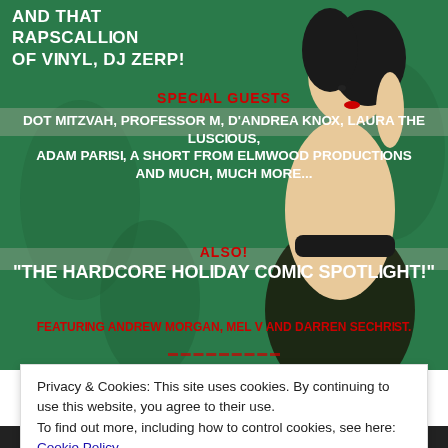[Figure (illustration): Event poster on green background with a retro pin-up style illustration of a woman in a black outfit, with white and red stylized text listing special guests and event details including 'The Hardcore Holiday Comic Spotlight!']
Privacy & Cookies: This site uses cookies. By continuing to use this website, you agree to their use.
To find out more, including how to control cookies, see here: Cookie Policy
Close and accept